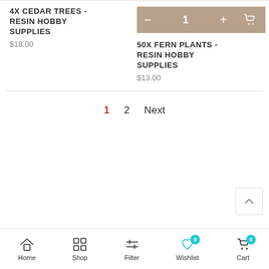4X CEDAR TREES - RESIN HOBBY SUPPLIES
$18.00
50X FERN PLANTS - RESIN HOBBY SUPPLIES
$13.00
1  2  Next
Home  Shop  Filter  Wishlist 0  Cart 0